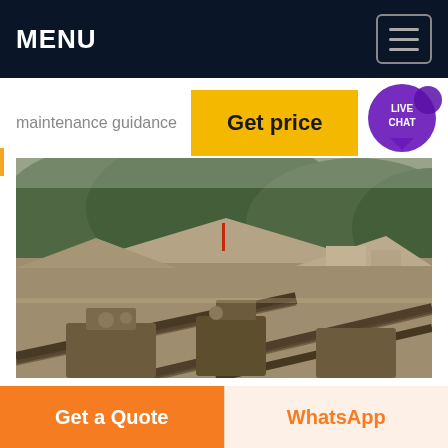MENU
maintenance guidance
Get price
[Figure (photo): Aerial view of a mining/quarrying site with large gravel/aggregate stockpiles, conveyor belts and heavy industrial equipment in the foreground, and forested hills in the background.]
Get a Quote
WhatsApp